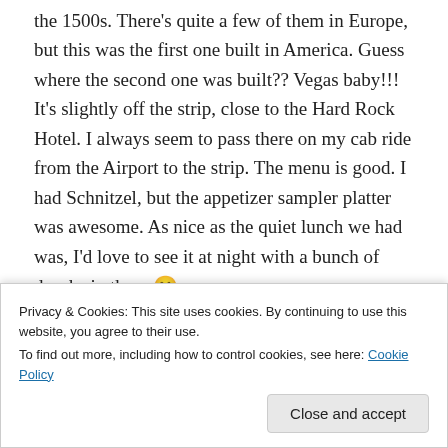the 1500s.  There's quite a few of them in Europe, but this was the first one built in America.  Guess where the second one was built??  Vegas baby!!!  It's slightly off the strip, close to the Hard Rock Hotel.  I always seem to pass there on my cab ride from the Airport to the strip.  The menu is good.  I had Schnitzel, but the appetizer sampler platter was awesome.  As nice as the quiet lunch we had was, I'd love to see it at night with a bunch of drunks in there 🙂
Privacy & Cookies: This site uses cookies. By continuing to use this website, you agree to their use.
To find out more, including how to control cookies, see here: Cookie Policy
Close and accept
Advertisements